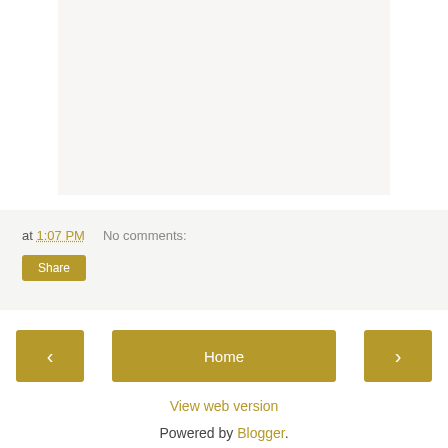[Figure (other): Light gray empty content area, likely a placeholder for an image or embedded content]
at 1:07 PM   No comments:
Share
‹
Home
›
View web version
Powered by Blogger.